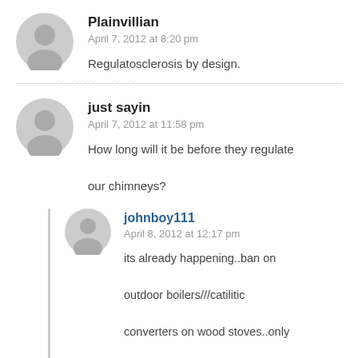Plainvillian
April 7, 2012 at 8:20 pm
Regulatosclerosis by design.
just sayin
April 7, 2012 at 11:58 pm
How long will it be before they regulate our chimneys?
johnboy111
April 8, 2012 at 12:17 pm
its already happening..ban on outdoor boilers///catilitic converters on wood stoves..only certain furnaces allowed to be sold